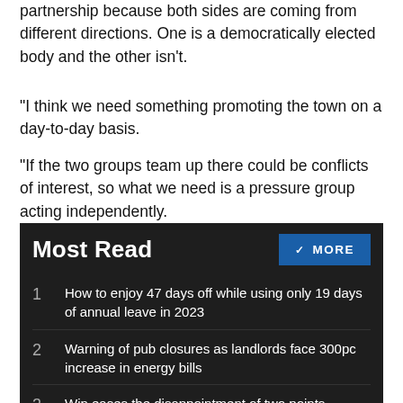partnership because both sides are coming from different directions. One is a democratically elected body and the other isn't.
"I think we need something promoting the town on a day-to-day basis.
"If the two groups team up there could be conflicts of interest, so what we need is a pressure group acting independently.
Most Read
1. How to enjoy 47 days off while using only 19 days of annual leave in 2023
2. Warning of pub closures as landlords face 300pc increase in energy bills
3. Win eases the disappointment of two points dropped for Royston Town